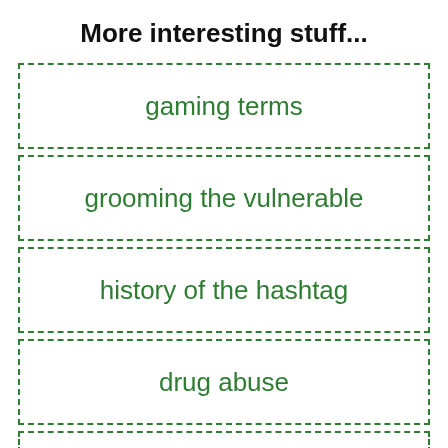More interesting stuff...
gaming terms
grooming the vulnerable
history of the hashtag
drug abuse